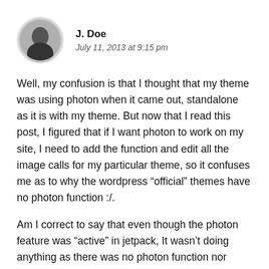[Figure (photo): Circular avatar photo of J. Doe, showing a person in dark clothing]
J. Doe
July 11, 2013 at 9:15 pm
Well, my confusion is that I thought that my theme was using photon when it came out, standalone as it is with my theme. But now that I read this post, I figured that if I want photon to work on my site, I need to add the function and edit all the image calls for my particular theme, so it confuses me as to why the wordpress “official” themes have no photon function :/.
Am I correct to say that even though the photon feature was “active” in jetpack, It wasn’t doing anything as there was no photon function nor photon image calls within my theme? As a side note, I know